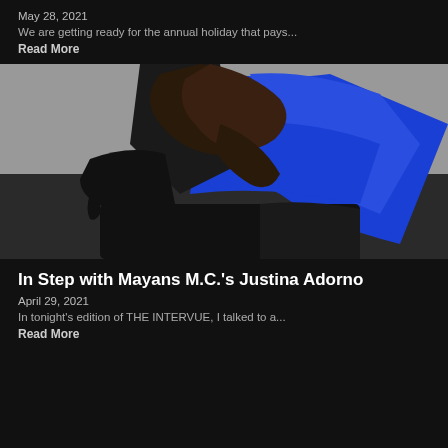May 28, 2021
We are getting ready for the annual holiday that pays...
Read More
[Figure (photo): Woman wearing a blue leather jacket and black gloves, seated on a gray background, posing for a fashion/editorial shoot.]
In Step with Mayans M.C.'s Justina Adorno
April 29, 2021
In tonight's edition of THE INTERVUE, I talked to a...
Read More